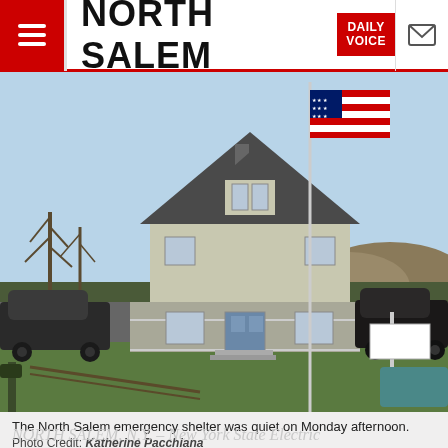NORTH SALEM — Daily Voice
[Figure (photo): A two-story colonial-style building serving as the North Salem emergency shelter, with an American flag on a tall flagpole in the foreground, green lawn, leafless trees, and parked cars on either side. Blue sky background.]
The North Salem emergency shelter was quiet on Monday afternoon.
Photo Credit: Katherine Pacchiana
NORTH SALEM, N.Y. – New York State Electric